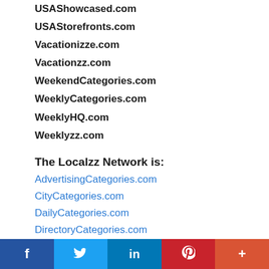USAShowcased.com
USAStorefronts.com
Vacationizze.com
Vacationzz.com
WeekendCategories.com
WeeklyCategories.com
WeeklyHQ.com
Weeklyzz.com
The Localzz Network is:
AdvertisingCategories.com
CityCategories.com
DailyCategories.com
DirectoryCategories.com
EverydayCategories.com
ExteriorCategories.com